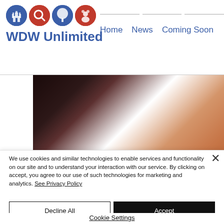WDW Unlimited — Home | News | Coming Soon
[Figure (photo): Blurred close-up photo with dark and orange/brown tones, partially obscured by white sidebar]
We use cookies and similar technologies to enable services and functionality on our site and to understand your interaction with our service. By clicking on accept, you agree to our use of such technologies for marketing and analytics. See Privacy Policy
Decline All
Accept
Cookie Settings